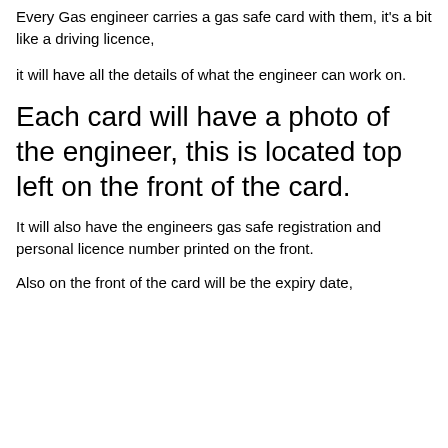Every Gas engineer carries a gas safe card with them, it's a bit like a driving licence,
it will have all the details of what the engineer can work on.
Each card will have a photo of the engineer, this is located top left on the front of the card.
It will also have the engineers gas safe registration and personal licence number printed on the front.
Also on the front of the card will be the expiry date,